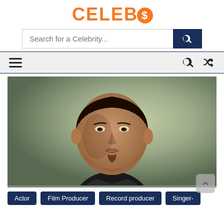CELEBS
Search for a Celebrity...
[Figure (photo): Portrait photo of a man in a dark blazer and white shirt against a muted green background, looking directly at the camera with a serious expression.]
Actor
Film Producer
Record producer
Singer-